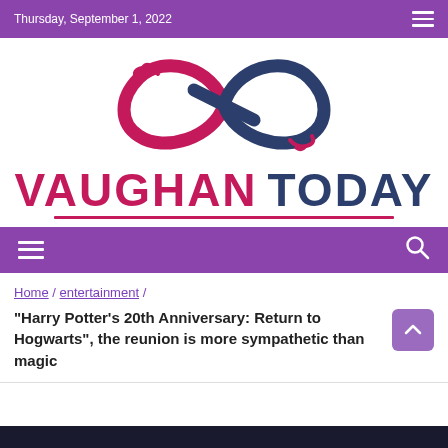Thursday, September 1, 2022
[Figure (logo): Vaughan Today logo with infinity symbol made of two hands, in pink and dark blue, with text VAUGHAN in pink and TODAY in dark blue below]
Navigation bar with hamburger menu and search icon
Home / entertainment /
"Harry Potter's 20th Anniversary: Return to Hogwarts", the reunion is more sympathetic than magic